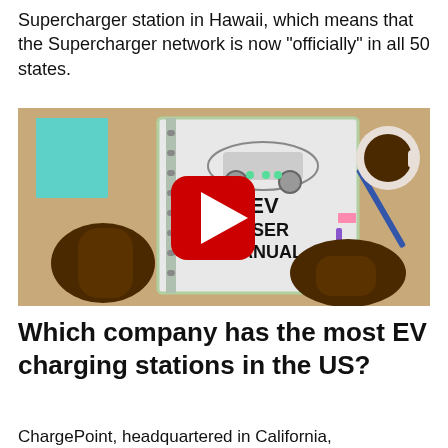Supercharger station in Hawaii, which means that the Supercharger network is now “officially” in all 50 states.
[Figure (screenshot): YouTube video thumbnail showing an animated scene of hands holding an EV User Manual notebook on a wooden desk, with a coffee cup and pencil visible. A red YouTube play button is overlaid in the center.]
Which company has the most EV charging stations in the US?
ChargePoint, headquartered in California, is...